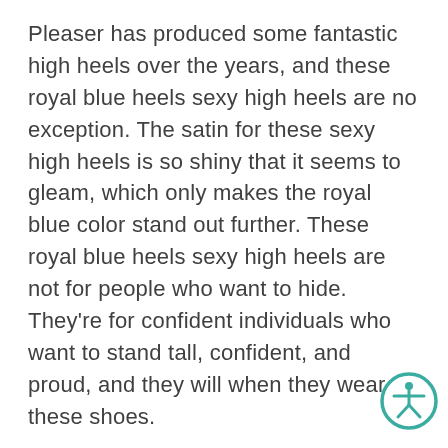Pleaser has produced some fantastic high heels over the years, and these royal blue heels sexy high heels are no exception. The satin for these sexy high heels is so shiny that it seems to gleam, which only makes the royal blue color stand out further. These royal blue heels sexy high heels are not for people who want to hide. They're for confident individuals who want to stand tall, confident, and proud, and they will when they wear these shoes.
The lower platform of the shoes is decorated with rhinestones. The rest of the shoe is satin, so the rhinestones create a nice contrast in terms of the texture of the shoe itself. The rhinestones on these shoes also make them distinctly
[Figure (illustration): Accessibility icon — a teal/green circle with a white stick figure person with arms extended, indicating accessibility features]